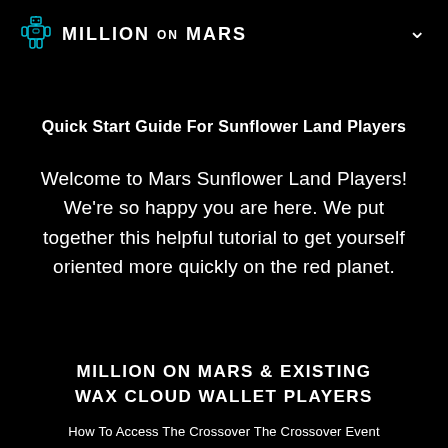MILLION ON MARS
Quick Start Guide For Sunflower Land Players
Welcome to Mars Sunflower Land Players! We're so happy you are here. We put together this helpful tutorial to get yourself oriented more quickly on the red planet.
MILLION ON MARS & EXISTING WAX CLOUD WALLET PLAYERS
How To Access The Crossover The Crossover Event